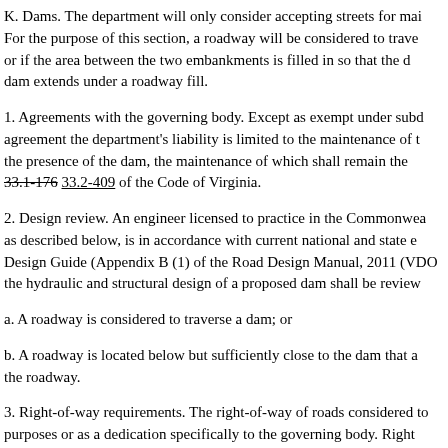K. Dams. The department will only consider accepting streets for mai... For the purpose of this section, a roadway will be considered to trave... or if the area between the two embankments is filled in so that the d... dam extends under a roadway fill.
1. Agreements with the governing body. Except as exempt under subd... agreement the department's liability is limited to the maintenance of t... the presence of the dam, the maintenance of which shall remain the... 33.1-176 33.2-409 of the Code of Virginia.
2. Design review. An engineer licensed to practice in the Commonwea... as described below, is in accordance with current national and state e... Design Guide (Appendix B (1) of the Road Design Manual, 2011 (VDO... the hydraulic and structural design of a proposed dam shall be review...
a. A roadway is considered to traverse a dam; or
b. A roadway is located below but sufficiently close to the dam that a... the roadway.
3. Right-of-way requirements. The right-of-way of roads considered to... purposes or as a dedication specifically to the governing body. Right...